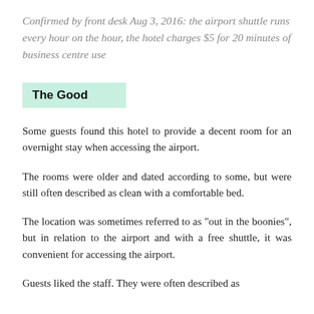Confirmed by front desk Aug 3, 2016: the airport shuttle runs every hour on the hour, the hotel charges $5 for 20 minutes of business centre use
The Good
Some guests found this hotel to provide a decent room for an overnight stay when accessing the airport.
The rooms were older and dated according to some, but were still often described as clean with a comfortable bed.
The location was sometimes referred to as "out in the boonies", but in relation to the airport and with a free shuttle, it was convenient for accessing the airport.
Guests liked the staff. They were often described as